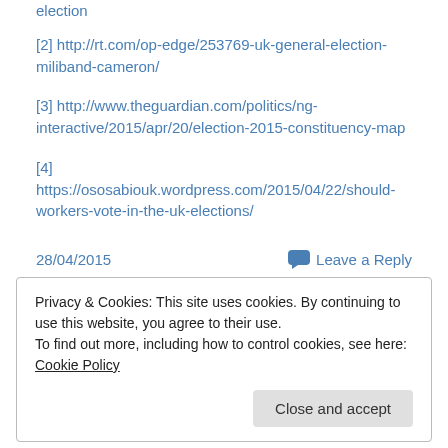[2] http://rt.com/op-edge/253769-uk-general-election-miliband-cameron/
[3] http://www.theguardian.com/politics/ng-interactive/2015/apr/20/election-2015-constituency-map
[4] https://ososabiouk.wordpress.com/2015/04/22/should-workers-vote-in-the-uk-elections/
28/04/2015    Leave a Reply
Privacy & Cookies: This site uses cookies. By continuing to use this website, you agree to their use.
To find out more, including how to control cookies, see here: Cookie Policy